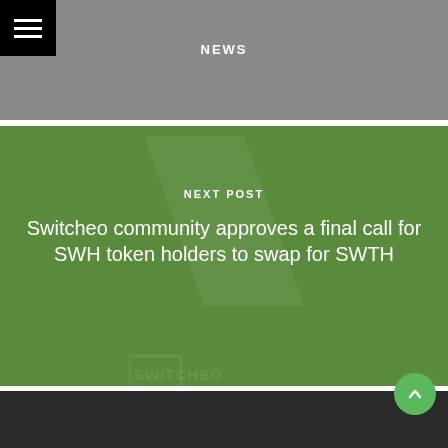NEWS
NEXT POST
Switcheo community approves a final call for SWH token holders to swap for SWTH
Contact
Block Explorers